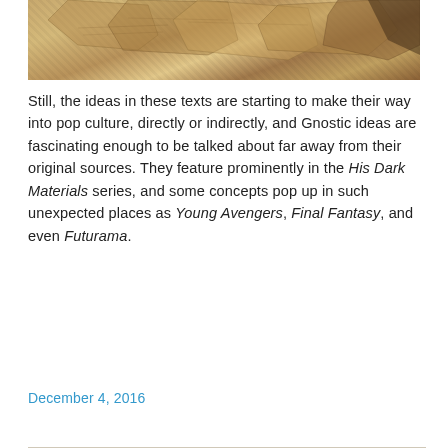[Figure (photo): Partial image of ancient papyrus or leather manuscript fragments on a light background, tan and brown tones]
Still, the ideas in these texts are starting to make their way into pop culture, directly or indirectly, and Gnostic ideas are fascinating enough to be talked about far away from their original sources. They feature prominently in the His Dark Materials series, and some concepts pop up in such unexpected places as Young Avengers, Final Fantasy, and even Futurama.
Continue reading →
December 4, 2016